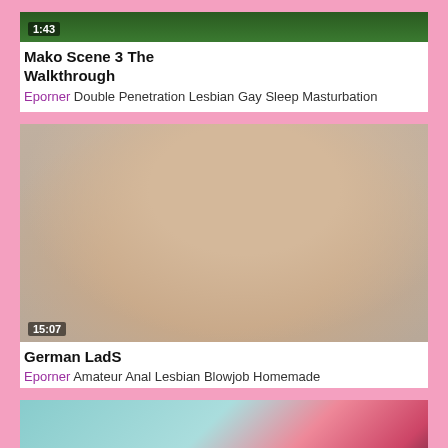[Figure (photo): Video thumbnail with duration 1:43, dark green background, partially visible]
Mako Scene 3 The Walkthrough
Eporner Double Penetration Lesbian Gay Sleep Masturbation
[Figure (photo): Video thumbnail with duration 15:07, showing a person indoors]
German LadS
Eporner Amateur Anal Lesbian Blowjob Homemade
[Figure (photo): Video thumbnail showing pink object on light blue background, partially visible]